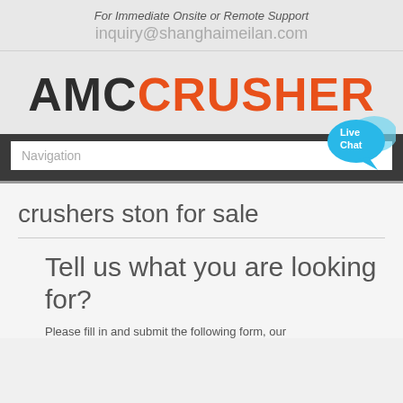For Immediate Onsite or Remote Support
inquiry@shanghaimeilan.com
[Figure (logo): AMC CRUSHER logo with AMC in dark/black and CRUSHER in orange]
[Figure (screenshot): Navigation bar with search input field and Live Chat speech bubble icon]
crushers ston for sale
Tell us what you are looking for?
Please fill in and submit the following form, our